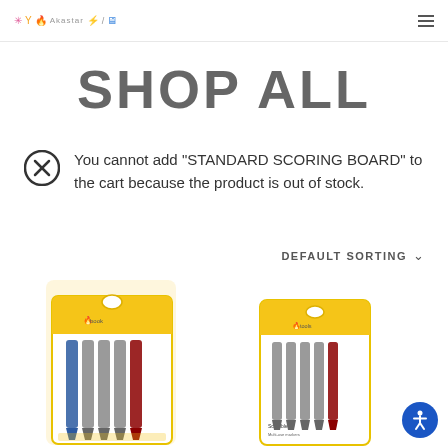Logo navigation header with hamburger menu
SHOP ALL
You cannot add "STANDARD SCORING BOARD" to the cart because the product is out of stock.
DEFAULT SORTING
[Figure (photo): Product image of a set of markers/pens in a yellow blister pack packaging, left product]
[Figure (photo): Product image of a set of markers/pens in a yellow blister pack packaging, right product]